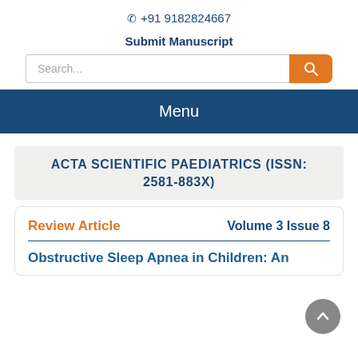☎ +91 9182824667
Submit Manuscript
[Figure (screenshot): Search bar with text input and orange search button with magnifier icon]
Menu
ACTA SCIENTIFIC PAEDIATRICS (ISSN: 2581-883X)
Review Article    Volume 3 Issue 8
Obstructive Sleep Apnea in Children: An